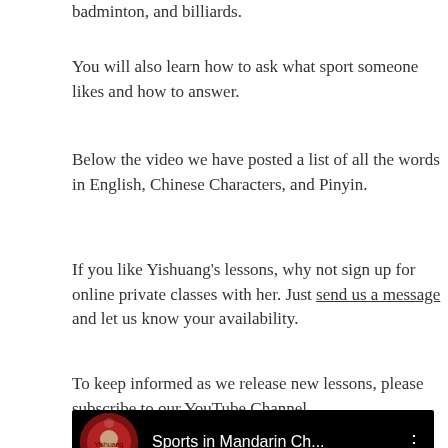badminton, and billiards.
You will also learn how to ask what sport someone likes and how to answer.
Below the video we have posted a list of all the words in English, Chinese Characters, and Pinyin.
If you like Yishuang's lessons, why not sign up for online private classes with her.  Just send us a message and let us know your availability.
To keep informed as we release new lessons, please subscribe to our YouTube Channel.
[Figure (screenshot): YouTube video thumbnail showing 'Sports in Mandarin Ch...' with a circular avatar on black background and a three-dot menu icon]